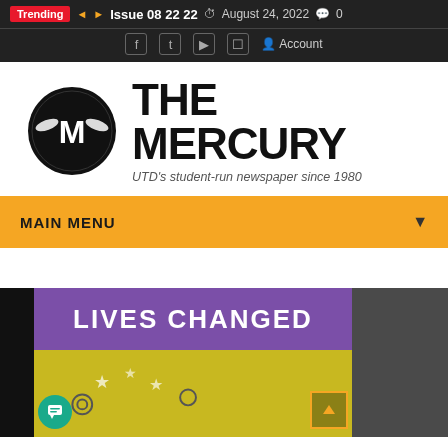Trending  Issue 08 22 22  August 24, 2022  0
Social icons: Facebook, Twitter, YouTube, Instagram | Account
[Figure (logo): The Mercury logo — black circle with winged M, and bold text 'THE MERCURY' with italic subtitle 'UTD's student-run newspaper since 1980']
MAIN MENU
[Figure (photo): Photo showing a banner reading 'LIVES CHANGED' in white text on a purple background, with a yellow section below featuring stars and graphic elements. People visible at bottom. A chat bubble icon at bottom-left and a back-to-top arrow at bottom-right.]